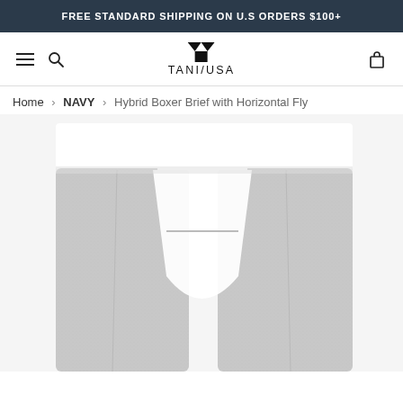FREE STANDARD SHIPPING ON U.S ORDERS $100+
[Figure (logo): TANI USA logo with stylized T icon in navbar]
Home > NAVY > Hybrid Boxer Brief with Horizontal Fly
[Figure (photo): Grey heather boxer brief with white waistband and horizontal fly opening, product photo on white background]